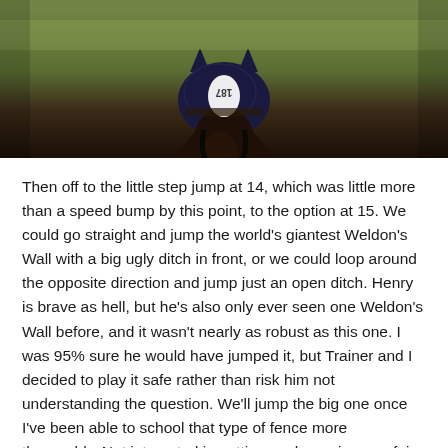[Figure (photo): A horse viewed from behind, wearing a dark navy blue ear bonnet/fly veil with competition number tag 187 visible, standing on a grass field. The photo is taken from just above and behind the horse's head.]
Then off to the little step jump at 14, which was little more than a speed bump by this point, to the option at 15. We could go straight and jump the world's giantest Weldon's Wall with a big ugly ditch in front, or we could loop around the opposite direction and jump just an open ditch. Henry is brave as hell, but he's also only ever seen one Weldon's Wall before, and it wasn't nearly as robust as this one. I was 95% sure he would have jumped it, but Trainer and I decided to play it safe rather than risk him not understanding the question. We'll jump the big one once I've been able to school that type of fence more thoroughly. Not interested in putting my horse in an unfair situation and hurting his confidence. He's a fantastic XC horse, but he IS still a bit on a...